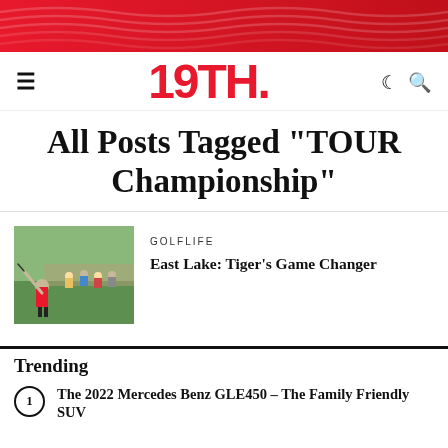[Figure (logo): Wavy red decorative header stripe at top of page]
19TH.
All Posts Tagged "TOUR Championship"
[Figure (photo): Golfer in red shirt swinging a golf club on a golf course with spectators in background]
GOLFLIFE
East Lake: Tiger's Game Changer
Trending
The 2022 Mercedes Benz GLE450 – The Family Friendly SUV